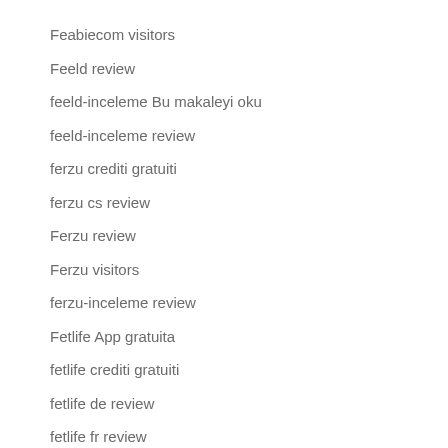Feabiecom visitors
Feeld review
feeld-inceleme Bu makaleyi oku
feeld-inceleme review
ferzu crediti gratuiti
ferzu cs review
Ferzu review
Ferzu visitors
ferzu-inceleme review
Fetlife App gratuita
fetlife crediti gratuiti
fetlife de review
fetlife fr review
Fetlife meetic site
fetlife nerd dating app